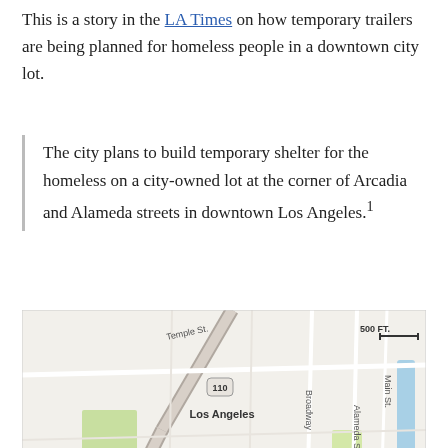This is a story in the LA Times on how temporary trailers are being planned for homeless people in a downtown city lot.
The city plans to build temporary shelter for the homeless on a city-owned lot at the corner of Arcadia and Alameda streets in downtown Los Angeles.[1]
[Figure (map): Street map of downtown Los Angeles showing the planned temporary shelter location at the corner of Arcadia and Alameda streets. Map shows surrounding streets including Temple St, 3rd St, Broadway, Main St, Cesar E. Chavez Ave, Olvera Street. Landmarks shown include Disney Hall, Grand Park, City Hall. Highways 110 and 101 are visible. An orange square marker labeled 'Planned temporary shelter' indicates the location. Scale shows 500 FT.]